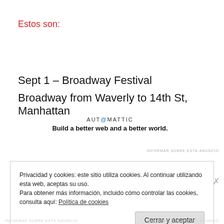Estos son:
Sept 1 – Broadway Festival
Broadway from Waverly to 14th St, Manhattan
[Figure (logo): Automattic logo with tagline 'Build a better web and a better world.']
INFORMAR SOBRE ESTE ANUNCIO
Privacidad y cookies: este sitio utiliza cookies. Al continuar utilizando esta web, aceptas su uso.
Para obtener más información, incluido cómo controlar las cookies, consulta aquí: Política de cookies
Cerrar y aceptar
INFORMAR SOBRE ESTE ANUNCIO